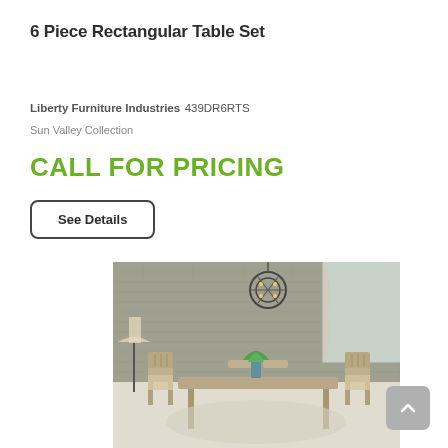6 Piece Rectangular Table Set
Liberty Furniture Industries 439DR6RTS
Sun Valley Collection
CALL FOR PRICING
See Details
[Figure (photo): Dining room scene showing a rectangular wooden table set with six chairs in a farmhouse/rustic style, with a metal sphere chandelier above, plants, a lamp, and textured wall décor in the background.]